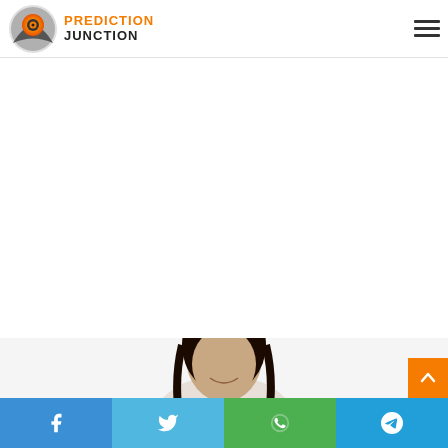[Figure (logo): Prediction Junction logo — circular owl icon with orange/grey tones, and text PREDICTION JUNCTION in orange and dark grey]
[Figure (other): Hamburger menu icon (three horizontal lines) at top right]
[Figure (other): White advertisement/blank space area below header]
[Figure (photo): Portrait photo of a young woman with long dark hair, smiling, cropped at shoulders, shown in lower portion of page]
[Figure (other): Orange scroll-to-top button with upward arrow at bottom right]
[Figure (other): Social share bar at bottom: Facebook (blue), Twitter (light blue), WhatsApp (green), Telegram (blue) buttons with icons]